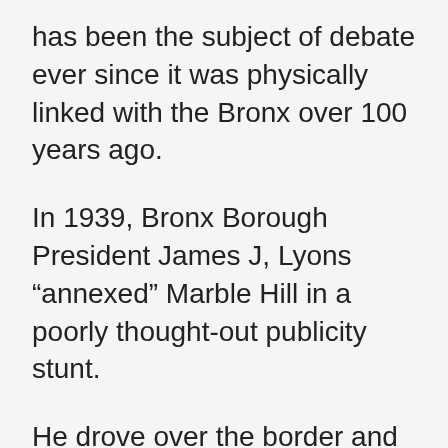has been the subject of debate ever since it was physically linked with the Bronx over 100 years ago.
In 1939, Bronx Borough President James J, Lyons "annexed" Marble Hill in a poorly thought-out publicity stunt.
He drove over the border and planted both the flag of the United States and of Bronx County firmly on a neighborhood rock formation, declaring "In the name of the Bronx, of which I am the President,